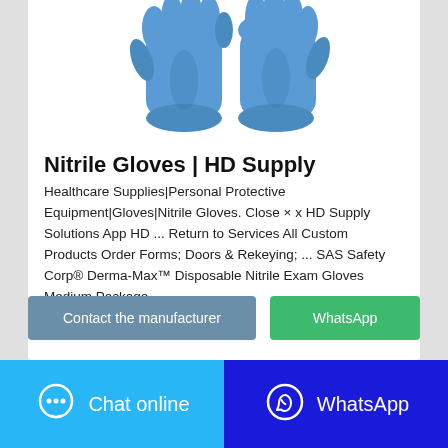[Figure (photo): Blue nitrile gloves product photo on white background]
Nitrile Gloves | HD Supply
Healthcare Supplies|Personal Protective Equipment|Gloves|Nitrile Gloves. Close × x HD Supply Solutions App HD ... Return to Services All Custom Products Order Forms; Doors & Rekeying; ... SAS Safety Corp® Derma-Max™ Disposable Nitrile Exam Gloves Medium Package …
Contact the manufacturer
WhatsApp
Chat online
WhatsApp